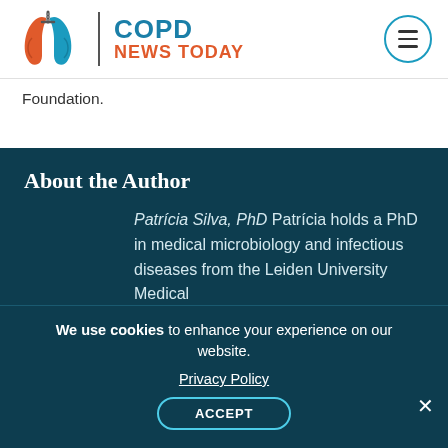COPD NEWS TODAY
Foundation.
About the Author
Patrícia Silva, PhD Patrícia holds a PhD in medical microbiology and infectious diseases from the Leiden University Medical
We use cookies to enhance your experience on our website. Privacy Policy ACCEPT